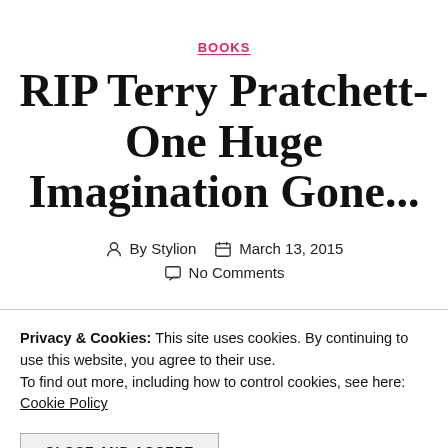BOOKS
RIP Terry Pratchett- One Huge Imagination Gone...
By Stylion   March 13, 2015
No Comments
Privacy & Cookies: This site uses cookies. By continuing to use this website, you agree to their use.
To find out more, including how to control cookies, see here: Cookie Policy
CLOSE AND ACCEPT